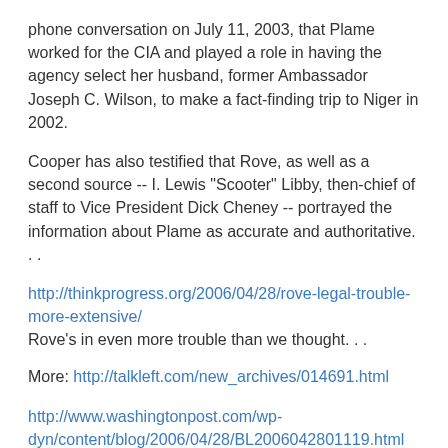phone conversation on July 11, 2003, that Plame worked for the CIA and played a role in having the agency select her husband, former Ambassador Joseph C. Wilson, to make a fact-finding trip to Niger in 2002.
Cooper has also testified that Rove, as well as a second source -- I. Lewis "Scooter" Libby, then-chief of staff to Vice President Dick Cheney -- portrayed the information about Plame as accurate and authoritative. . .
http://thinkprogress.org/2006/04/28/rove-legal-trouble-more-extensive/
Rove's in even more trouble than we thought. . .
More: http://talkleft.com/new_archives/014691.html
http://www.washingtonpost.com/wp-dyn/content/blog/2006/04/28/BL2006042801119.html
Ney, Harris, NH phone jamming, and Schmidt: the gifts that keep on giving. . .